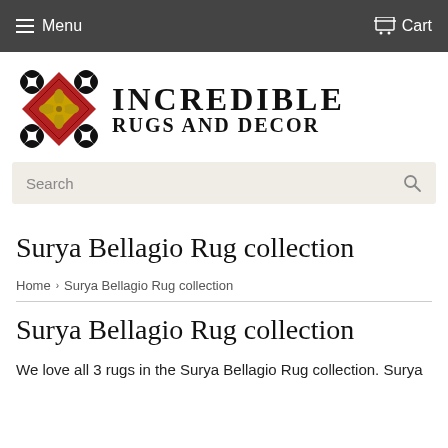Menu   Cart
[Figure (logo): Incredible Rugs and Decor logo with decorative red and gold diamond-shaped rug pattern icon on the left and bold serif text 'INCREDIBLE RUGS AND DECOR' on the right]
Search
Surya Bellagio Rug collection
Home > Surya Bellagio Rug collection
Surya Bellagio Rug collection
We love all 3 rugs in the Surya Bellagio Rug collection. Surya